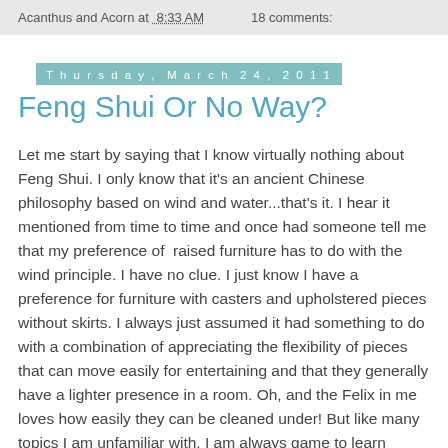Acanthus and Acorn at 8:33 AM    18 comments:
Thursday, March 24, 2011
Feng Shui Or No Way?
Let me start by saying that I know virtually nothing about Feng Shui. I only know that it's an ancient Chinese philosophy based on wind and water...that's it. I hear it mentioned from time to time and once had someone tell me that my preference of  raised furniture has to do with the wind principle. I have no clue. I just know I have a preference for furniture with casters and upholstered pieces without skirts. I always just assumed it had something to do with a combination of appreciating the flexibility of pieces that can move easily for entertaining and that they generally have a lighter presence in a room. Oh, and the Felix in me loves how easily they can be cleaned under! But like many topics I am unfamiliar with, I am always game to learn something new.
[Figure (photo): Partial image strip at the bottom showing green foliage/plants]